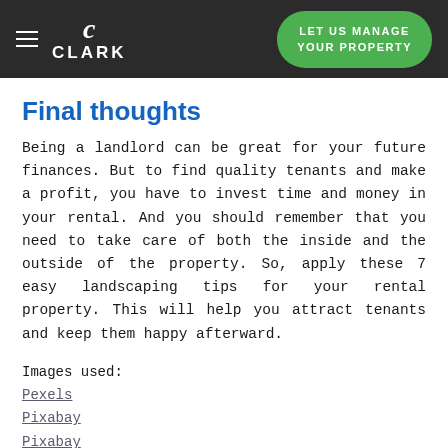CLARK | LET US MANAGE YOUR PROPERTY
Final thoughts
Being a landlord can be great for your future finances. But to find quality tenants and make a profit, you have to invest time and money in your rental. And you should remember that you need to take care of both the inside and the outside of the property. So, apply these 7 easy landscaping tips for your rental property. This will help you attract tenants and keep them happy afterward.
Images used:
Pexels
Pixabay
Pixabay
Unsplash